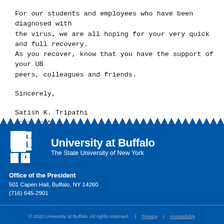For our students and employees who have been diagnosed with the virus, we are all hoping for your very quick and full recovery. As you recover, know that you have the support of your UB peers, colleagues and friends.
Sincerely,
Satish K. Tripathi
President
[Figure (logo): University at Buffalo logo with UB shield and text 'University at Buffalo The State University of New York' on blue background]
Office of the President
501 Capen Hall, Buffalo, NY 14260
(716) 645-2901
© 2022 University at Buffalo. All rights reserved. | Privacy | Accessibility